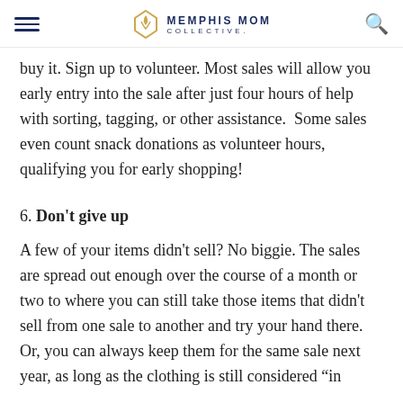Memphis Mom Collective
buy it. Sign up to volunteer. Most sales will allow you early entry into the sale after just four hours of help with sorting, tagging, or other assistance. Some sales even count snack donations as volunteer hours, qualifying you for early shopping!
6. Don't give up
A few of your items didn't sell? No biggie. The sales are spread out enough over the course of a month or two to where you can still take those items that didn't sell from one sale to another and try your hand there. Or, you can always keep them for the same sale next year, as long as the clothing is still considered "in